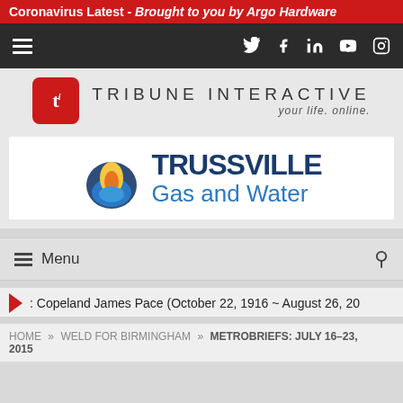Coronavirus Latest - Brought to you by Argo Hardware
[Figure (logo): Tribune Interactive logo with navigation icons (Twitter, Facebook, LinkedIn, YouTube, Instagram) on dark bar]
[Figure (logo): Tribune Interactive logo: red ti box with TRIBUNE INTERACTIVE text and tagline 'your life. online.']
[Figure (logo): Trussville Gas and Water advertisement banner logo]
[Figure (screenshot): Menu navigation bar with hamburger icon, Menu text, and search icon]
: Copeland James Pace (October 22, 1916 ~ August 26, 20
HOME » WELD FOR BIRMINGHAM » METROBRIEFS: JULY 16-23, 2015